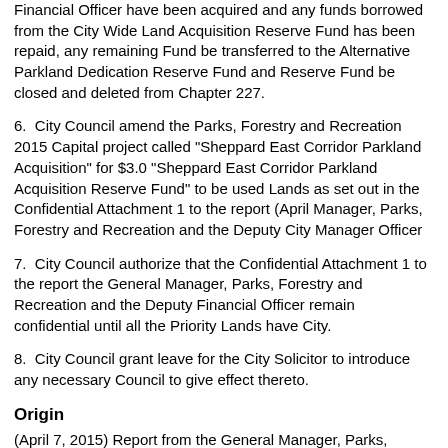Financial Officer have been acquired and any funds borrowed from the City Wide Land Acquisition Reserve Fund has been repaid, any remaining Fund be transferred to the Alternative Parkland Dedication Reserve Fund and Reserve Fund be closed and deleted from Chapter 227.
6.  City Council amend the Parks, Forestry and Recreation 2015 Capital project called "Sheppard East Corridor Parkland Acquisition" for $3.0 "Sheppard East Corridor Parkland Acquisition Reserve Fund" to be used Lands as set out in the Confidential Attachment 1 to the report (April Manager, Parks, Forestry and Recreation and the Deputy City Manager Officer
7.  City Council authorize that the Confidential Attachment 1 to the report the General Manager, Parks, Forestry and Recreation and the Deputy Financial Officer remain confidential until all the Priority Lands have City.
8.  City Council grant leave for the City Solicitor to introduce any necessary Council to give effect thereto.
Origin
(April 7, 2015) Report from the General Manager, Parks, Forestry and Deputy City Manager and Chief Financial Officer
Summary